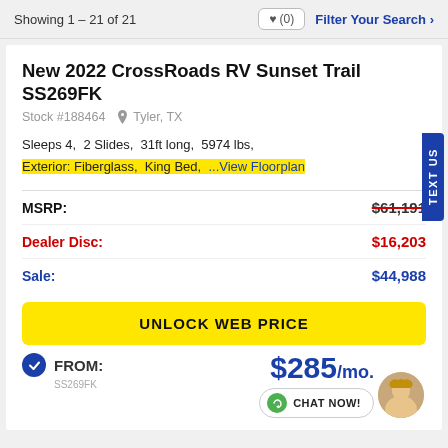Showing 1 – 21 of 21   ♥ (0)   Filter Your Search >
New 2022 CrossRoads RV Sunset Trail SS269FK
Stock #188464  Tyler, TX
Sleeps 4,  2 Slides,  31ft long,  5974 lbs,  Exterior: Fiberglass,  King Bed,  ...View Floorplan
| Label | Value |
| --- | --- |
| MSRP: | $61,191 |
| Dealer Disc: | $16,203 |
| Sale: | $44,988 |
UNLOCK WEB PRICE
FROM:  $285 /mo.  SS269FK  CHAT NOW!